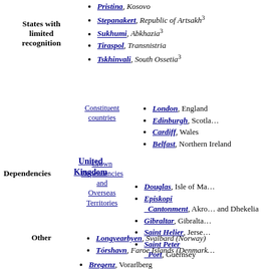Pristina, Kosovo
Stepanakert, Republic of Artsakh³
Sukhumi, Abkhazia³
Tiraspol, Transnistria
Tskhinvali, South Ossetia³
States with limited recognition
London, England
Edinburgh, Scotland
Cardiff, Wales
Belfast, Northern Ireland
Constituent countries
Douglas, Isle of Man
Episkopi Cantonment, Akrotiri and Dhekelia
Gibraltar, Gibraltar
Saint Helier, Jersey
Saint Peter Port, Guernsey
Crown Dependencies and Overseas Territories
United Kingdom
Dependencies
Longyearbyen, Svalbard (Norway)
Tórshavn, Faroe Islands (Denmark)
Other
Bregenz, Vorarlberg